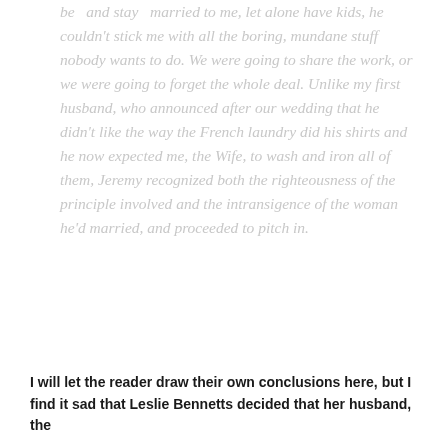be and stay married to me, let alone have kids, he couldn't stick me with all the boring, mundane stuff nobody wants to do. We were going to share the work, or we were going to forget the whole deal. Unlike my first husband, who announced after our wedding that he didn't like the way the French laundry did his shirts and he now expected me, the Wife, to wash and iron all of them, Jeremy recognized both the righteousness of the principle involved and the intransigence of the woman he'd married, and proceeded to pitch in.
I will let the reader draw their own conclusions here, but I find it sad that Leslie Bennetts decided that her husband, the